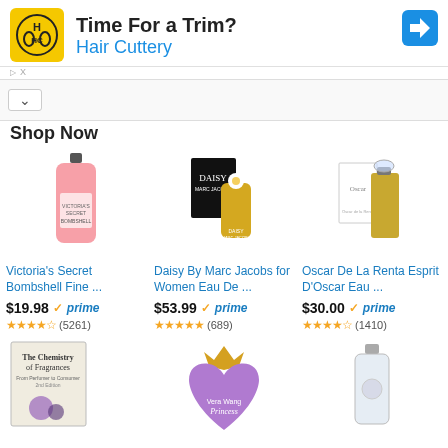[Figure (screenshot): Hair Cuttery advertisement banner with logo, 'Time For a Trim?' headline, blue navigation arrow icon]
Shop Now
[Figure (photo): Victoria's Secret Bombshell Fine fragrance bottle (pink)]
Victoria's Secret Bombshell Fine ...
$19.98 ✓prime
★★★★½ (5261)
[Figure (photo): Daisy by Marc Jacobs for Women Eau De Toilette bottle with black box]
Daisy By Marc Jacobs for Women Eau De ...
$53.99 ✓prime
★★★★★ (689)
[Figure (photo): Oscar De La Renta Esprit D'Oscar Eau de Parfum bottle with box]
Oscar De La Renta Esprit D'Oscar Eau ...
$30.00 ✓prime
★★★★½ (1410)
[Figure (photo): The Chemistry of Fragrances book cover]
[Figure (photo): Vera Wang Princess heart-shaped purple perfume bottle]
[Figure (photo): Clear/silver fragrance bottle]